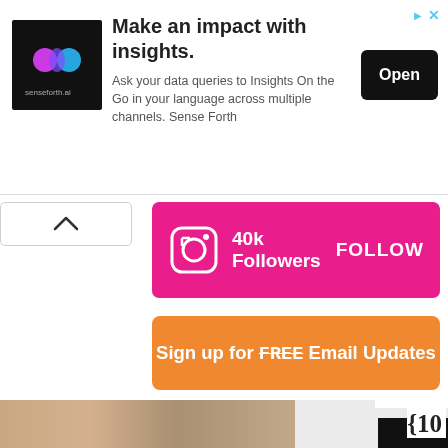[Figure (screenshot): Ad banner for senseforth.ai with logo, headline 'Make an impact with insights.', body text, and Open button]
[Figure (infographic): Instagram follow banner: 40k Followers FOLLOW button in pink]
[Figure (infographic): Orange button: Sign up for FREE Email Updates]
This website uses cookies to offer you a better experience. If you use this site, you consent to our use of cookies. Learn more
[Figure (screenshot): I Agree button in blue for cookie consent]